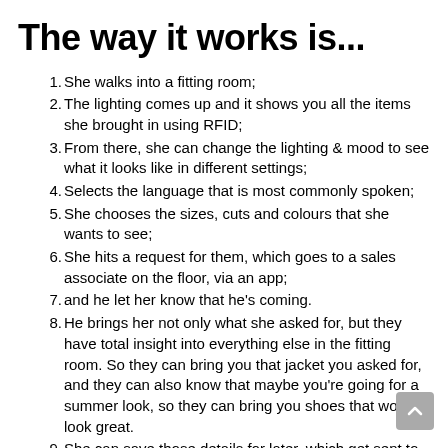The way it works is...
She walks into a fitting room;
The lighting comes up and it shows you all the items she brought in using RFID;
From there, she can change the lighting & mood to see what it looks like in different settings;
Selects the language that is most commonly spoken;
She chooses the sizes, cuts and colours that she wants to see;
She hits a request for them, which goes to a sales associate on the floor, via an app;
and he let her know that he's coming.
He brings her not only what she asked for, but they have total insight into everything else in the fitting room. So they can bring you that jacket you asked for, and they can also know that maybe you're going for a summer look, so they can bring you shoes that would look great.
She can save those details for later, which get sent to her